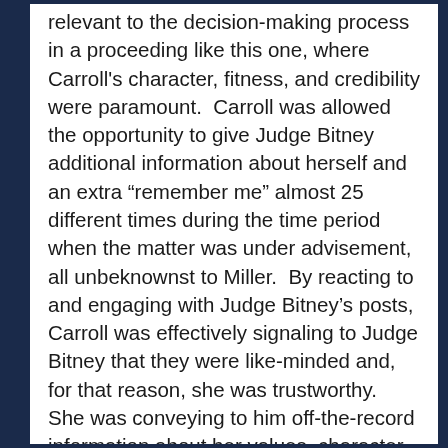relevant to the decision-making process in a proceeding like this one, where Carroll's character, fitness, and credibility were paramount.  Carroll was allowed the opportunity to give Judge Bitney additional information about herself and an extra “remember me” almost 25 different times during the time period when the matter was under advisement, all unbeknownst to Miller.  By reacting to and engaging with Judge Bitney’s posts, Carroll was effectively signaling to Judge Bitney that they were like-minded and, for that reason, she was trustworthy.  She was conveying to him off-the-record information about her values, character, and parental fitness — additional evidence Miller did not have the